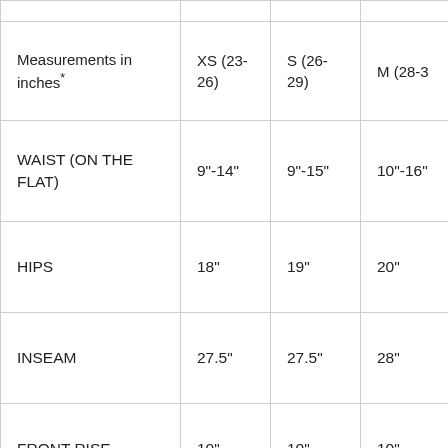| Measurements in inches* | XS (23-26) | S (26-29) | M (28-3…) |
| --- | --- | --- | --- |
| WAIST (ON THE FLAT) | 9"-14" | 9"-15" | 10"-16" |
| HIPS | 18" | 19" | 20" |
| INSEAM | 27.5" | 27.5" | 28" |
| FRONT RISE | 10" | 10" | 10" |
| LEG OPENING | 11.5" | 11.5" | 11.5" |